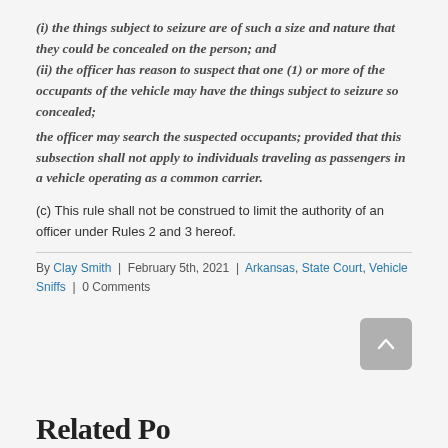(i) the things subject to seizure are of such a size and nature that they could be concealed on the person; and (ii) the officer has reason to suspect that one (1) or more of the occupants of the vehicle may have the things subject to seizure so concealed;
the officer may search the suspected occupants; provided that this subsection shall not apply to individuals traveling as passengers in a vehicle operating as a common carrier.
(c) This rule shall not be construed to limit the authority of an officer under Rules 2 and 3 hereof.
By Clay Smith | February 5th, 2021 | Arkansas, State Court, Vehicle Sniffs | 0 Comments